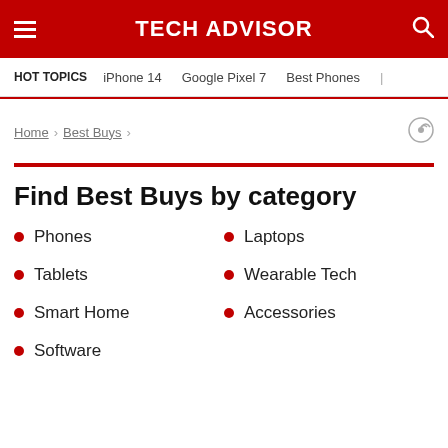TECH ADVISOR
HOT TOPICS  iPhone 14  Google Pixel 7  Best Phones
Home > Best Buys
Find Best Buys by category
Phones
Laptops
Tablets
Wearable Tech
Smart Home
Accessories
Software